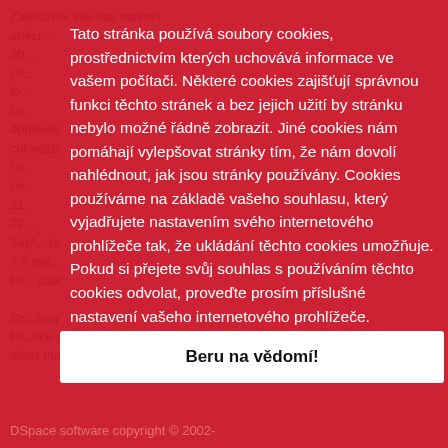Zabouřeni vše usti staveni abiku... (background dimmed text)
Tato stránka používá soubory cookies, prostřednictvím kterých uchovává informace ve vašem počítači. Některé cookies zajišťují správnou funkci těchto stránek a bez jejich užití by stránku nebylo možné řádně zobrazit. Jiné cookies nám pomáhají vylepšovat stránky tím, že nám dovolí nahlédnout, jak jsou stránky používány. Cookies používáme na základě vašeho souhlasu, který vyjadřujete nastavením svého internetového prohlížeče tak, že ukládání těchto cookies umožňuje. Pokud si přejete svůj souhlas s používáním těchto cookies odvolat, proveďte prosím příslušné nastavení vašeho internetového prohlížeče.
Beru na vědomí!
DSpace software copyright © 2002-